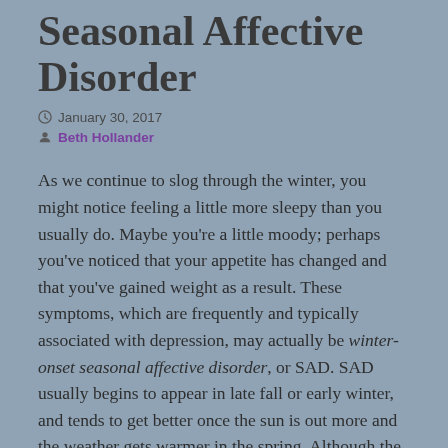Seasonal Affective Disorder
January 30, 2017
Beth Hollander
As we continue to slog through the winter, you might notice feeling a little more sleepy than you usually do. Maybe you’re a little moody; perhaps you’ve noticed that your appetite has changed and that you’ve gained weight as a result. These symptoms, which are frequently and typically associated with depression, may actually be winter-onset seasonal affective disorder, or SAD. SAD usually begins to appear in late fall or early winter, and tends to get better once the sun is out more and the weather gets warmer in the spring. Although the actual cause of SAD is unknown, there are several theories that are floated around as to why this occurs in so many people (approximately 10 million Americans).